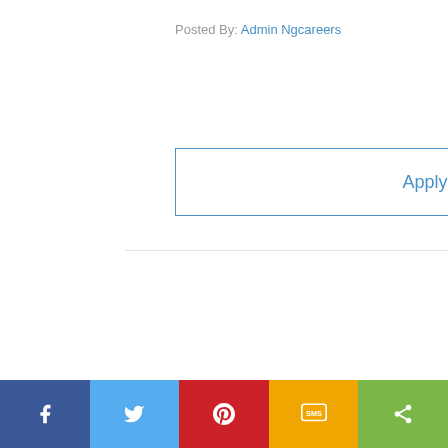Posted By: Admin Ngcareers
Apply
[Figure (other): Social sharing bar with Facebook, Twitter, Pinterest, SMS, and Share buttons at the bottom of the page]